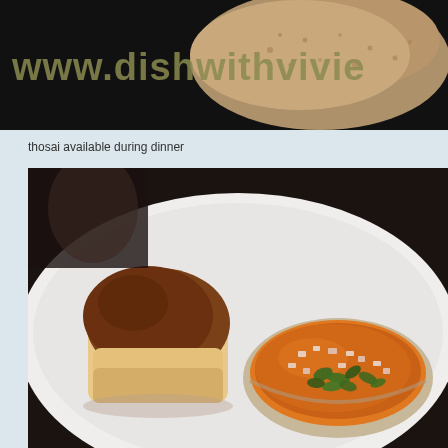[Figure (photo): Top portion of a food blog header image showing bread/bun with watermark text 'www.dishwithvivie' overlaid in olive/yellow bold text against a dark background]
thosai available during dinner
[Figure (photo): A close-up food photograph showing a white dinner plate with a small soft bread roll (pav) and a small bowl of orange curry/bhaji garnished with diced onions and chopped cilantro/coriander leaves — pav bhaji dish]